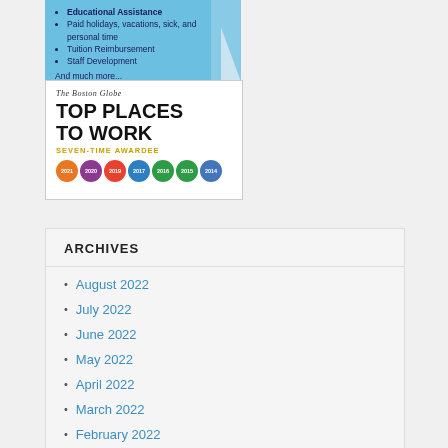[Figure (infographic): Boston Globe Top Places to Work Seven-Time Awardee badge with year circles 2021, 2020, 2019, 2017, 2016, 2015, 2014, and a blue banner with bullet points listing benefits.]
ARCHIVES
August 2022
July 2022
June 2022
May 2022
April 2022
March 2022
February 2022
January 2022